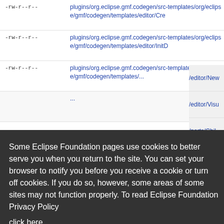-rw-r--r--  plugins/org.eclipse.gmf.codegen/src-templates/org/eclipse/gmf/codegen/templates/editor/Cre...
-rw-r--r--  plugins/org.eclipse.gmf.codegen/src-templates/org/eclipse/gmf/codegen/templates/editor/InitD...
-rw-r--r--  plugins/org.eclipse.gmf.codegen/src-templates/... /editor/New...
... /editor/Visu...
... /parts/Chil...
... /parts/Diag...
... /parts/EditP...
... /parts/Exte...
... /parts/Link...
... /parts/Nod...
-rw-r--r--  plugins/org.eclipse.gmf.codegen/src-...
Some Eclipse Foundation pages use cookies to better serve you when you return to the site. You can set your browser to notify you before you receive a cookie or turn off cookies. If you do so, however, some areas of some sites may not function properly. To read Eclipse Foundation Privacy Policy click here.